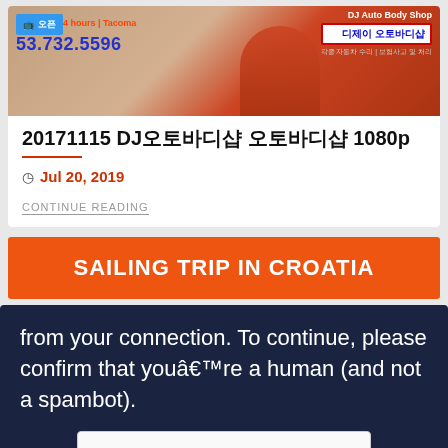[Figure (screenshot): Thumbnail image of a video ad showing a man in red shirt with DJ Auto Body Shop advertisement overlay in Korean and English, with phone number 53.732.5596 and Tacoma location]
20171115 DJ오토바디샵 오토바디샵 1080p
Jul 20, 2019
CONTINUE READING
SAILING TRIP IN CROATIA
from your connection. To continue, please confirm that you're a human (and not a spambot).
[Figure (screenshot): reCAPTCHA widget showing checkbox and 'I'm not a robot' text with reCAPTCHA logo]